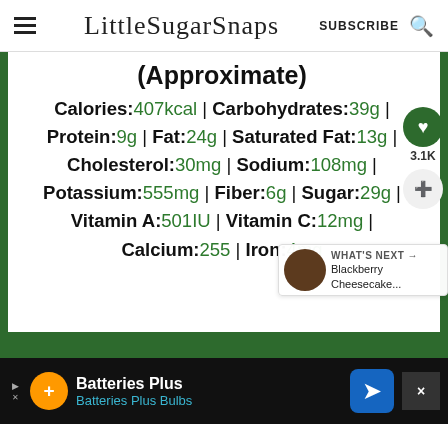LittleSugarSnaps | SUBSCRIBE
(Approximate) Calories:407kcal | Carbohydrates:39g | Protein:9g | Fat:24g | Saturated Fat:13g | Cholesterol:30mg | Sodium:108mg | Potassium:555mg | Fiber:6g | Sugar:29g | Vitamin A:501IU | Vitamin C:12mg | Calcium:255 | Iron:4mg
WHAT'S NEXT → Blackberry Cheesecake...
Batteries Plus | Batteries Plus Bulbs